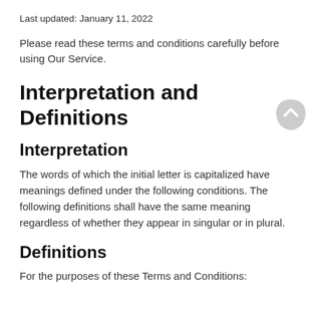Last updated: January 11, 2022
Please read these terms and conditions carefully before using Our Service.
Interpretation and Definitions
Interpretation
The words of which the initial letter is capitalized have meanings defined under the following conditions. The following definitions shall have the same meaning regardless of whether they appear in singular or in plural.
Definitions
For the purposes of these Terms and Conditions: